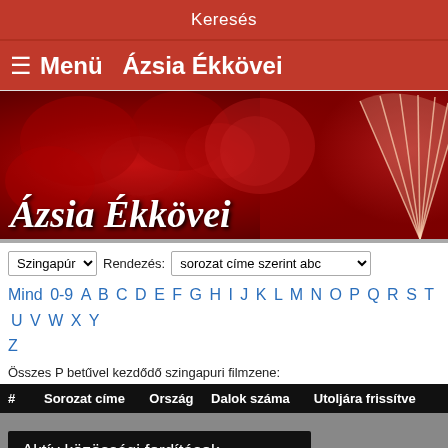Keresés
≡Menü  Ázsia Ékkövei
[Figure (illustration): Red decorative banner with floral/oriental fabric pattern and a fan motif on the right. White italic text reads 'Ázsia Ékkövei' in the lower left.]
Szingapúr  Rendezés:  sorozat címe szerint abc
Mind 0-9 A B C D E F G H I J K L M N O P Q R S T U V W X Y Z
Összes P betűvel kezdődő szingapuri filmzene:
| # | Sorozat címe | Ország | Dalok száma | Utoljára frissítve |
| --- | --- | --- | --- | --- |
Aktív közösségi fordítások
Jumping Girl (2015) 2. rész